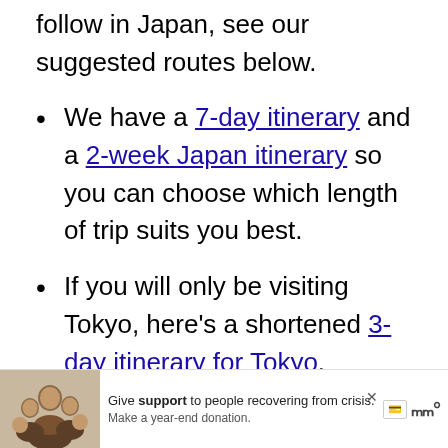follow in Japan, see our suggested routes below.
We have a 7-day itinerary and a 2-week Japan itinerary so you can choose which length of trip suits you best.
If you will only be visiting Tokyo, here's a shortened 3-day itinerary for Tokyo.
Want to add more days outside of Tokyo? Here's a 3-day Kyoto itinerary
[Figure (photo): Advertisement banner with family photo. Text reads: Give support to people recovering from crisis. Make a year-end donation.]